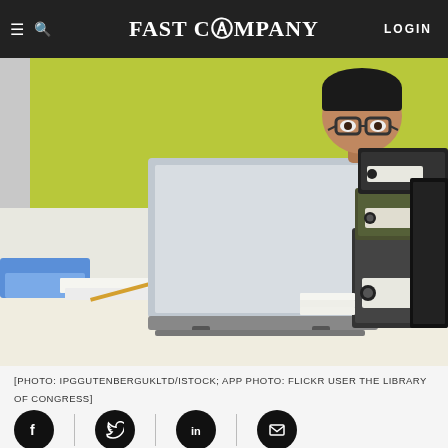FAST COMPANY | LOGIN
You can't hope to make progress on your goals if you keep practicing the same bad habits.
[Figure (photo): Person sitting behind a large open laptop at a cluttered desk, peering over the screen, with stacks of binders on the right and office supplies on the left, against a yellow-green brick wall background.]
[PHOTO: IPGGUTENBERGUKLTD/ISTOCK; APP PHOTO: FLICKR USER THE LIBRARY OF CONGRESS]